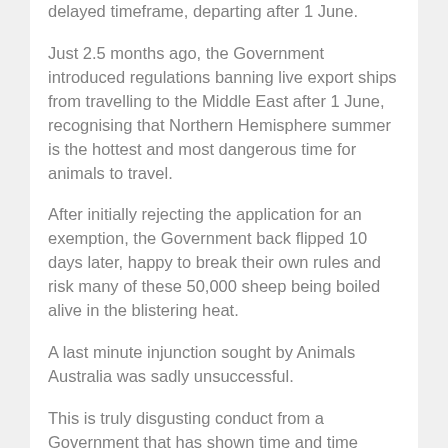delayed timeframe, departing after 1 June.
Just 2.5 months ago, the Government introduced regulations banning live export ships from travelling to the Middle East after 1 June, recognising that Northern Hemisphere summer is the hottest and most dangerous time for animals to travel.
After initially rejecting the application for an exemption, the Government back flipped 10 days later, happy to break their own rules and risk many of these 50,000 sheep being boiled alive in the blistering heat.
A last minute injunction sought by Animals Australia was sadly unsuccessful.
This is truly disgusting conduct from a Government that has shown time and time again that it will always put profit above the suffering of a living being.
But the people of Australia will not stop fighting for these animals. The Animal justice Party will not stop fighting for these animals. To every single animal forced